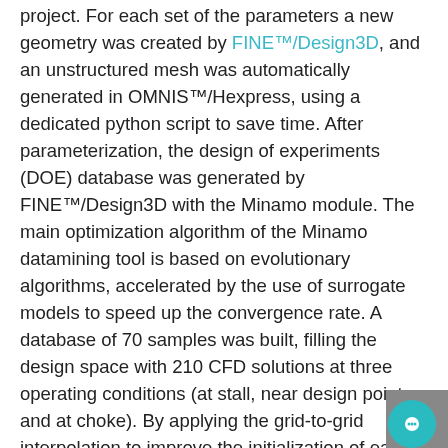project. For each set of the parameters a new geometry was created by FINE™/Design3D, and an unstructured mesh was automatically generated in OMNIS™/Hexpress, using a dedicated python script to save time. After parameterization, the design of experiments (DOE) database was generated by FINE™/Design3D with the Minamo module. The main optimization algorithm of the Minamo datamining tool is based on evolutionary algorithms, accelerated by the use of surrogate models to speed up the convergence rate. A database of 70 samples was built, filling the design space with 210 CFD solutions at three operating conditions (at stall, near design point, and at choke). By applying the grid-to-grid interpolation to improve the initialization of each CFD sample, a 25% reduction of iterations (and therefore CPU time) was achieved.
A thorough analysis of the database allowed the engineering team to understand the influence of